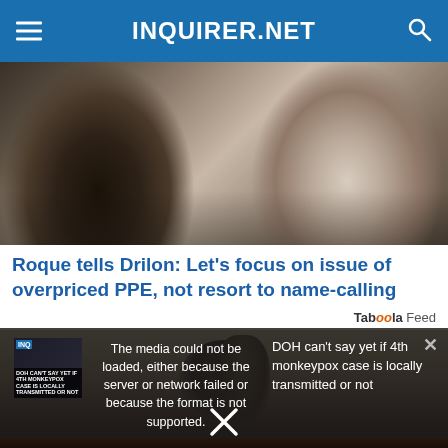INQUIRER.NET
[Figure (photo): Two men at a press conference, one in a suit on the left and one in a white shirt on the right, with microphones visible]
Roque tells Drilon: Let’s focus on issue of overpriced PPE, not resort to name-calling
Taboola Feed
[Figure (photo): Close-up of what appears to be a lock or mechanical device against a sandy/stone wall]
The media could not be loaded, either because the server or network failed or because the format is not supported.
DOH can’t say yet if 4th monkeypox case is locally transmitted or not